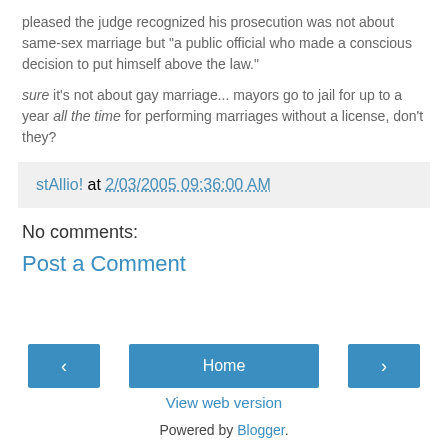pleased the judge recognized his prosecution was not about same-sex marriage but "a public official who made a conscious decision to put himself above the law."
sure it's not about gay marriage... mayors go to jail for up to a year all the time for performing marriages without a license, don't they?
stAllio! at 2/03/2005 09:36:00 AM
No comments:
Post a Comment
< Home > View web version Powered by Blogger.